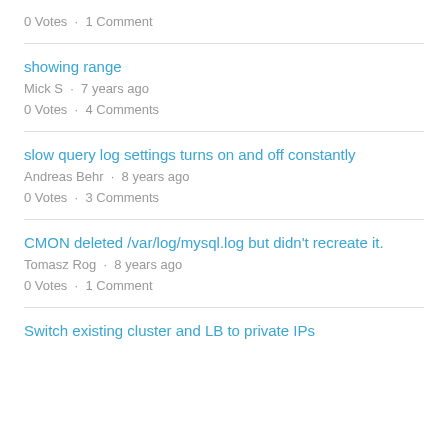0 Votes  ·  1 Comment
showing range
Mick S  ·  7 years ago
0 Votes  ·  4 Comments
slow query log settings turns on and off constantly
Andreas Behr  ·  8 years ago
0 Votes  ·  3 Comments
CMON deleted /var/log/mysql.log but didn't recreate it.
Tomasz Rog  ·  8 years ago
0 Votes  ·  1 Comment
Switch existing cluster and LB to private IPs